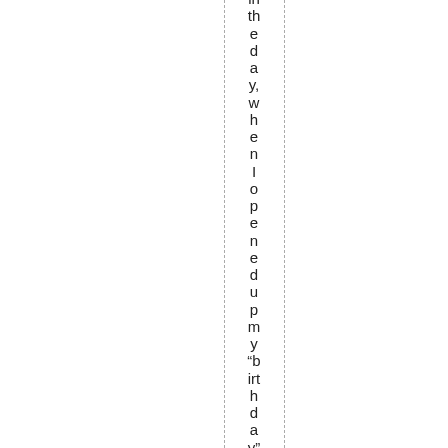in the day, when I opened up my “birthday” box,